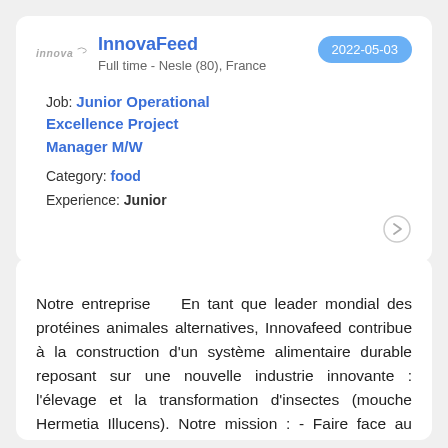InnovaFeed
Full time - Nesle (80), France
2022-05-03
Job: Junior Operational Excellence Project Manager M/W
Category: food
Experience: Junior
Notre entreprise    En tant que leader mondial des protéines animales alternatives, Innovafeed contribue à la construction d'un système alimentaire durable reposant sur une nouvelle industrie innovante : l'élevage et la transformation d'insectes (mouche Hermetia Illucens). Notre mission : - Faire face au déficit protéique mondial en renforçant nos